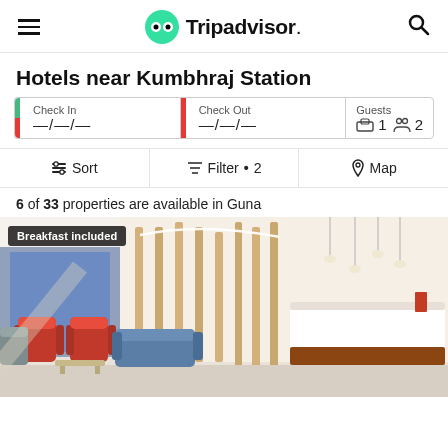Tripadvisor
Hotels near Kumbhraj Station
Check In —/—/—  Check Out —/—/—  Guests 1 2
Sort  Filter • 2  Map
6 of 33 properties are available in Guna
[Figure (photo): Hotel lobby with red chairs, blue sofa, modern reception desk, pendant lights and wood panel decor. Badge: Breakfast included]